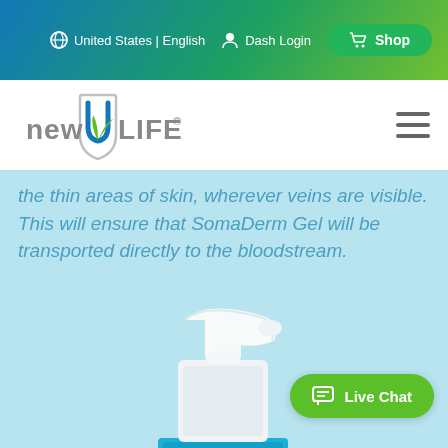United States | English   Dash Login   Shop
[Figure (logo): New U Life logo with shield and green leaf]
the thin areas of skin, wherever veins are visible. This will ensure that SomaDerm Gel will be transported directly to the bloodstream.
[Figure (photo): Close-up of a white pump dispenser with blue collar on a light blue background]
Live Chat